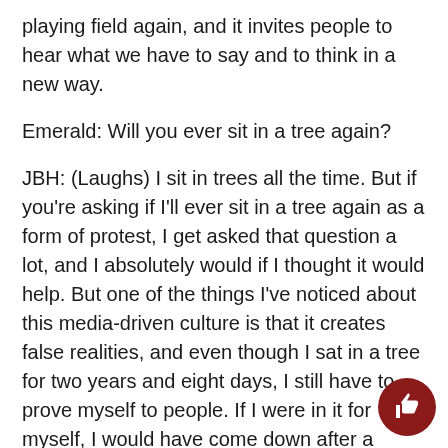playing field again, and it invites people to hear what we have to say and to think in a new way.
Emerald: Will you ever sit in a tree again?
JBH: (Laughs) I sit in trees all the time. But if you're asking if I'll ever sit in a tree again as a form of protest, I get asked that question a lot, and I absolutely would if I thought it would help. But one of the things I've noticed about this media-driven culture is that it creates false realities, and even though I sat in a tree for two years and eight days, I still have to prove myself to people. If I were in it for myself, I would have come down after a hundred days. That's when I broke the international record, and I could have come down and went to Hollywood and hung out with famous people. If I did another tree sit again, the media would just be, "Oh see, she just stopped getting press and now she wants press for herself again, so she climbed